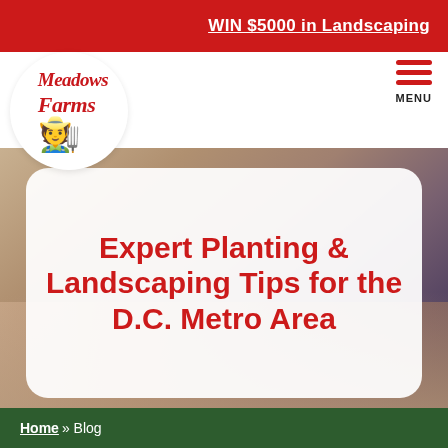WIN $5000 in Landscaping
[Figure (logo): Meadows Farms logo with red cursive text and cartoon farmer mascot in a white circle]
MENU
[Figure (photo): Blurred background photo of hands typing on a keyboard]
Expert Planting & Landscaping Tips for the D.C. Metro Area
Home » Blog